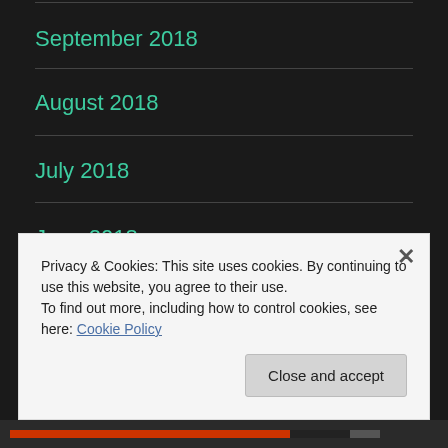September 2018
August 2018
July 2018
June 2018
May 2018
Privacy & Cookies: This site uses cookies. By continuing to use this website, you agree to their use.
To find out more, including how to control cookies, see here: Cookie Policy
Close and accept